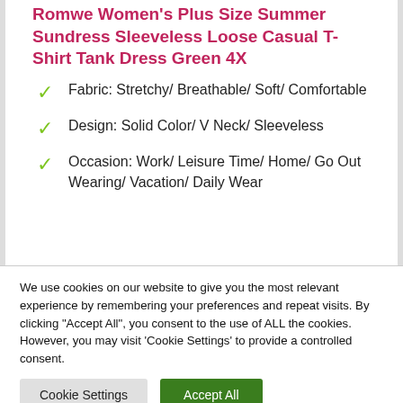Romwe Women's Plus Size Summer Sundress Sleeveless Loose Casual T-Shirt Tank Dress Green 4X
Fabric: Stretchy/ Breathable/ Soft/ Comfortable
Design: Solid Color/ V Neck/ Sleeveless
Occasion: Work/ Leisure Time/ Home/ Go Out Wearing/ Vacation/ Daily Wear
We use cookies on our website to give you the most relevant experience by remembering your preferences and repeat visits. By clicking "Accept All", you consent to the use of ALL the cookies. However, you may visit 'Cookie Settings' to provide a controlled consent.